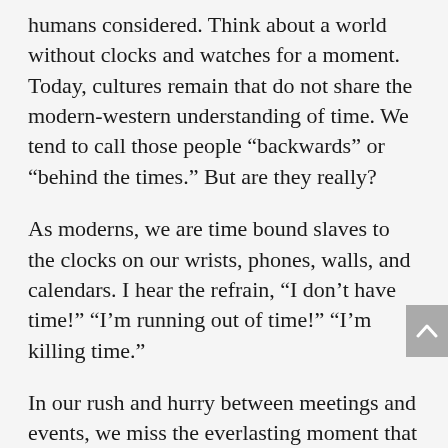humans considered. Think about a world without clocks and watches for a moment. Today, cultures remain that do not share the modern-western understanding of time. We tend to call those people “backwards” or “behind the times.” But are they really?
As moderns, we are time bound slaves to the clocks on our wrists, phones, walls, and calendars. I hear the refrain, “I don’t have time!” “I’m running out of time!” “I’m killing time.”
In our rush and hurry between meetings and events, we miss the everlasting moment that is rich with meaing. Frantic activity is followed by chronic inertia. It’s exhausting and sucks the joy and meaning out of life. We wake up and